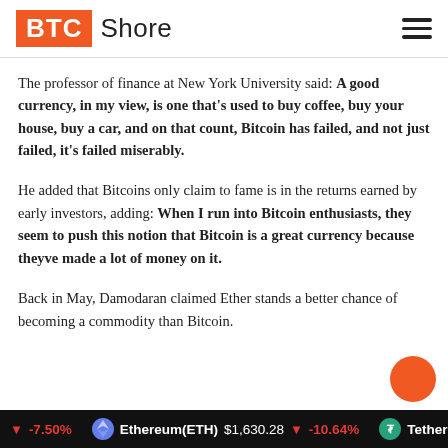[Figure (logo): BTC Shore logo with orange BTC box and hamburger menu icon]
The professor of finance at New York University said: A good currency, in my view, is one that’s used to buy coffee, buy your house, buy a car, and on that count, Bitcoin has failed, and not just failed, it’s failed miserably.
He added that Bitcoins only claim to fame is in the returns earned by early investors, adding: When I run into Bitcoin enthusiasts, they seem to push this notion that Bitcoin is a great currency because theyve made a lot of money on it.
Back in May, Damodaran claimed Ether stands a better chance of becoming a commodity than Bitcoin.
▼ -7.50%   Ethereum(ETH)  $1,630.28  ▼ -10.64%   Tether(USD